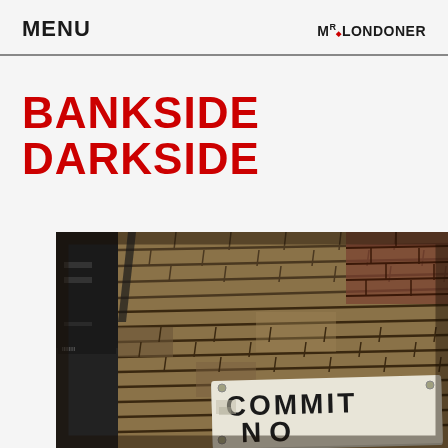MENU   MR. LONDONER
BANKSIDE DARKSIDE
[Figure (photo): Close-up photograph of an old London brick wall with a white sign reading 'COMMIT NO' (text partially cropped). The brick wall shows warm tan and brown tones. The photo has a slight tilt/Dutch angle. Blue sky visible in the top left corner.]